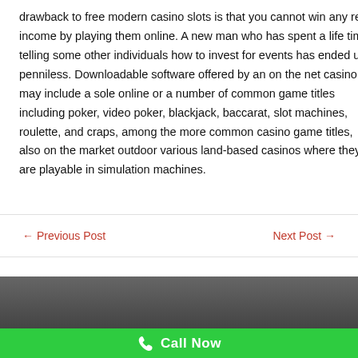drawback to free modern casino slots is that you cannot win any real income by playing them online. A new man who has spent a life time telling some other individuals how to invest for events has ended up penniless. Downloadable software offered by an on the net casino may include a sole online or a number of common game titles including poker, video poker, blackjack, baccarat, slot machines, roulette, and craps, among the more common casino game titles, also on the market outdoor various land-based casinos where they are playable in simulation machines.
← Previous Post   Next Post →
[Figure (photo): Dark gray/charcoal background image, partially visible scene, appears to be an indoor setting.]
Call Now